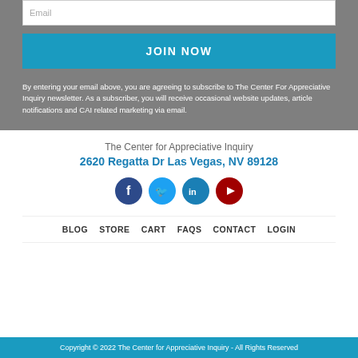Email
JOIN NOW
By entering your email above, you are agreeing to subscribe to The Center For Appreciative Inquiry newsletter. As a subscriber, you will receive occasional website updates, article notifications and CAI related marketing via email.
The Center for Appreciative Inquiry
2620 Regatta Dr Las Vegas, NV 89128
[Figure (infographic): Social media icons: Facebook (dark blue circle with f), Twitter (light blue circle with bird), LinkedIn (teal circle with in), YouTube (dark red circle with play button)]
BLOG   STORE   CART   FAQS   CONTACT   LOGIN
Copyright © 2022 The Center for Appreciative Inquiry - All Rights Reserved